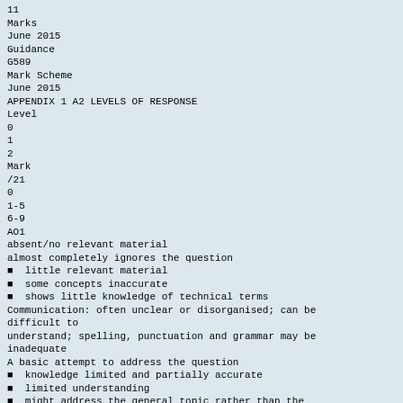11
Marks
June 2015
Guidance
G589
Mark Scheme
June 2015
APPENDIX 1 A2 LEVELS OF RESPONSE
Level
0
1
2
Mark
/21
0
1-5
6-9
AO1
absent/no relevant material
almost completely ignores the question
little relevant material
some concepts inaccurate
shows little knowledge of technical terms
Communication: often unclear or disorganised; can be difficult to understand; spelling, punctuation and grammar may be inadequate
A basic attempt to address the question
knowledge limited and partially accurate
limited understanding
might address the general topic rather than the question directly
selection often inappropriate